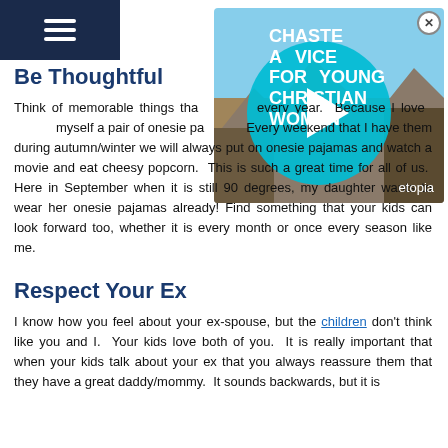[Figure (screenshot): Navigation hamburger menu bar (dark navy blue) in top-left corner of a website]
[Figure (screenshot): Ad overlay for 'Chaste Advice for Young Christian Women' by etopia, showing a teal circle with play button over a landscape background, with close button (X) in top right]
Be Thoughtful
Think of memorable things that happen every year.  Because I love buying myself a pair of onesie pajamas.  Every weekend that I have them during autumn/winter we will always put on onesie pajamas and watch a movie and eat cheesy popcorn.  This is such a great time for all of us.  Here in September when it is still 90 degrees, my daughter wants to wear her onesie pajamas already!  Find something that your kids can look forward too, whether it is every month or once every season like me.
Respect Your Ex
I know how you feel about your ex-spouse, but the children don't think like you and I.  Your kids love both of you.  It is really important that when your kids talk about your ex that you always reassure them that they have a great daddy/mommy.  It sounds backwards, but it is